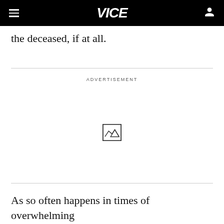VICE
the deceased, if at all.
ADVERTISEMENT
[Figure (other): Advertisement placeholder with broken image icon]
As so often happens in times of overwhelming